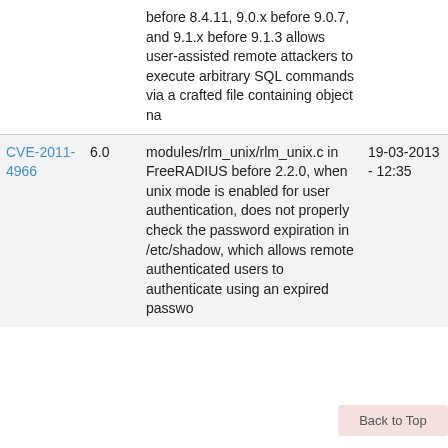| CVE | Score | Description | Date |  |
| --- | --- | --- | --- | --- |
|  |  | before 8.4.11, 9.0.x before 9.0.7, and 9.1.x before 9.1.3 allows user-assisted remote attackers to execute arbitrary SQL commands via a crafted file containing object na |  |  |
| CVE-2011-4966 | 6.0 | modules/rlm_unix/rlm_unix.c in FreeRADIUS before 2.2.0, when unix mode is enabled for user authentication, does not properly check the password expiration in /etc/shadow, which allows remote authenticated users to authenticate using an expired passwo | 19-03-2013 - 12:35 | 1 2 2 |